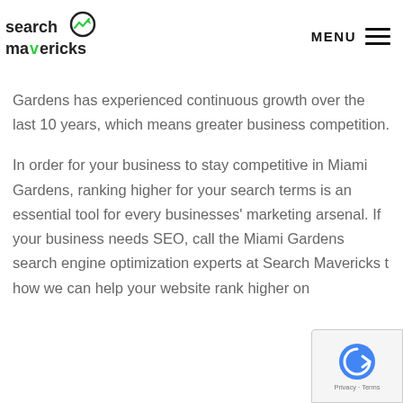[Figure (logo): Search Mavericks logo with stylized arrow/chart icon and text 'search mavericks']
MENU
Gardens has experienced continuous growth over the last 10 years, which means greater business competition.
In order for your business to stay competitive in Miami Gardens, ranking higher for your search terms is an essential tool for every businesses' marketing arsenal. If your business needs SEO, call the Miami Gardens search engine optimization experts at Search Mavericks t how we can help your website rank higher on